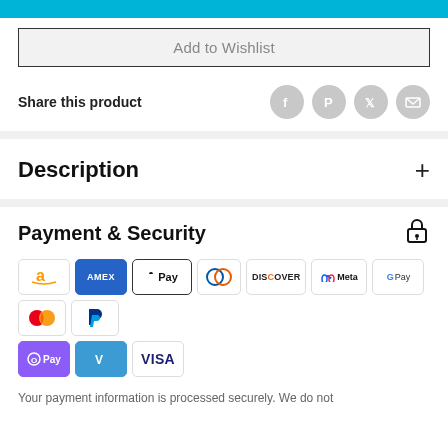[Figure (other): Cyan/blue banner bar at top]
Add to Wishlist
Share this product
Description
Payment & Security
[Figure (other): Payment method icons: Amazon, Amex, Apple Pay, Diners, Discover, Meta, Google Pay, Mastercard, PayPal, OPay, Venmo, Visa]
Your payment information is processed securely. We do not